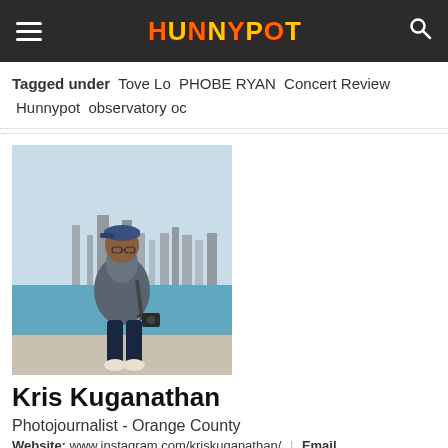HUNNYPOT
Tagged under  Tove Lo  PHOBE RYAN  Concert Review  Hunnypot  observatory oc
[Figure (photo): Photo of Kris Kuganathan standing on a waterfront path with a city skyline in the background, wearing a blue cap, grey puffer jacket, and holding a camera.]
Kris Kuganathan
Photojournalist - Orange County
Website: www.instagram.com/kriskuganathan/  |  Email